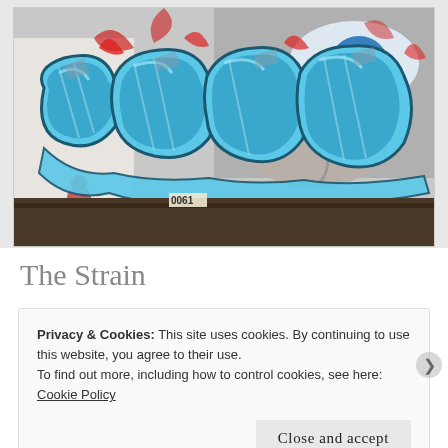[Figure (photo): Photograph of colorful graffiti art on a wall/rooftop. Large blue bubble-letter graffiti text with red accents and a large photorealistic eye painted in the upper right. A small tag reading '0061' is visible on the lower left of the mural.]
The Strain
Privacy & Cookies: This site uses cookies. By continuing to use this website, you agree to their use.
To find out more, including how to control cookies, see here:
Cookie Policy
Close and accept